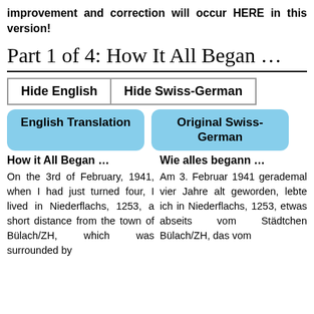improvement and correction will occur HERE in this version!
Part 1 of 4: How It All Began …
[Figure (screenshot): Two buttons side by side: 'Hide English' and 'Hide Swiss-German', with a border around them.]
[Figure (infographic): Two rounded blue label boxes: 'English Translation' and 'Original Swiss-German']
How it All Began …
Wie alles begann …
On the 3rd of February, 1941, when I had just turned four, I lived in Niederflachs, 1253, a short distance from the town of Bülach/ZH, which was surrounded by
Am 3. Februar 1941 gerademal vier Jahre alt geworden, lebte ich in Niederflachs, 1253, etwas abseits vom Städtchen Bülach/ZH, das vom